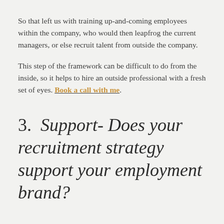So that left us with training up-and-coming employees within the company, who would then leapfrog the current managers, or else recruit talent from outside the company.
This step of the framework can be difficult to do from the inside, so it helps to hire an outside professional with a fresh set of eyes. Book a call with me.
3.  Support- Does your recruitment strategy support your employment brand?